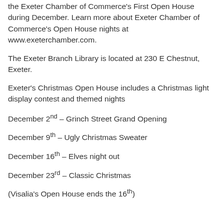the Exeter Chamber of Commerce's First Open House during December. Learn more about Exeter Chamber of Commerce's Open House nights at www.exeterchamber.com.
The Exeter Branch Library is located at 230 E Chestnut, Exeter.
Exeter's Christmas Open House includes a Christmas light display contest and themed nights
December 2nd – Grinch Street Grand Opening
December 9th – Ugly Christmas Sweater
December 16th – Elves night out
December 23rd – Classic Christmas
(Visalia's Open House ends the 16th)